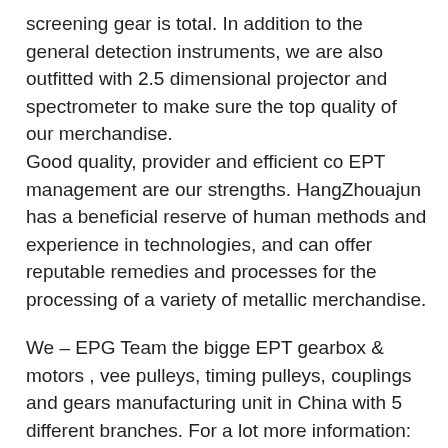screening gear is total. In addition to the general detection instruments, we are also outfitted with 2.5 dimensional projector and spectrometer to make sure the top quality of our merchandise.
Good quality, provider and efficient co EPT management are our strengths. HangZhouajun has a beneficial reserve of human methods and experience in technologies, and can offer reputable remedies and processes for the processing of a variety of metallic merchandise.
We – EPG Team the bigge EPT gearbox & motors , vee pulleys, timing pulleys, couplings and gears manufacturing unit in China with 5 different branches. For a lot more information: Cell/whatsapp/telegram/Kakao us at: